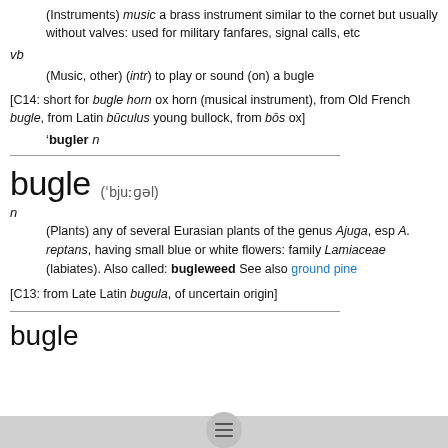(Instruments) music a brass instrument similar to the cornet but usually without valves: used for military fanfares, signal calls, etc
vb
(Music, other) (intr) to play or sound (on) a bugle
[C14: short for bugle horn ox horn (musical instrument), from Old French bugle, from Latin būculus young bullock, from bōs ox]
'bugler n
bugle
('bjuːɡəl)
n
(Plants) any of several Eurasian plants of the genus Ajuga, esp A. reptans, having small blue or white flowers: family Lamiaceae (labiates). Also called: bugleweed See also ground pine
[C13: from Late Latin bugula, of uncertain origin]
bugle